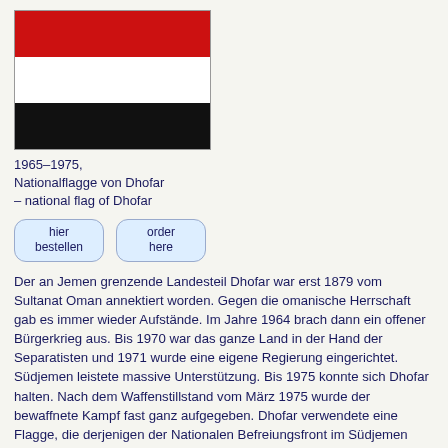[Figure (illustration): Flag of Dhofar 1965-1975: three horizontal stripes - red on top, white in middle, black on bottom]
1965–1975, Nationalflagge von Dhofar – national flag of Dhofar
[Figure (other): Two button controls: 'hier bestellen' and 'order here']
Der an Jemen grenzende Landesteil Dhofar war erst 1879 vom Sultanat Oman annektiert worden. Gegen die omanische Herrschaft gab es immer wieder Aufstände. Im Jahre 1964 brach dann ein offener Bürgerkrieg aus. Bis 1970 war das ganze Land in der Hand der Separatisten und 1971 wurde eine eigene Regierung eingerichtet. Südjemen leistete massive Unterstützung. Bis 1975 konnte sich Dhofar halten. Nach dem Waffenstillstand vom März 1975 wurde der bewaffnete Kampf fast ganz aufgegeben. Dhofar verwendete eine Flagge, die derjenigen der Nationalen Befreiungsfront im Südjemen sehr stark ähnelte. Zeitweise wurden die Farben auch umgedreht oder arabische Schiftzeichen im weißen Streifen eingefügt.